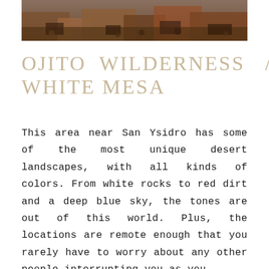[Figure (photo): Top portion of a rocky desert landscape showing reddish-brown rocks and earth tones]
OJITO  WILDERNESS  /
WHITE MESA
This area near San Ysidro has some of the most unique desert landscapes, with all kinds of colors. From white rocks to red dirt and a deep blue sky, the tones are out of this world. Plus, the locations are remote enough that you rarely have to worry about any other people interrupting you as you